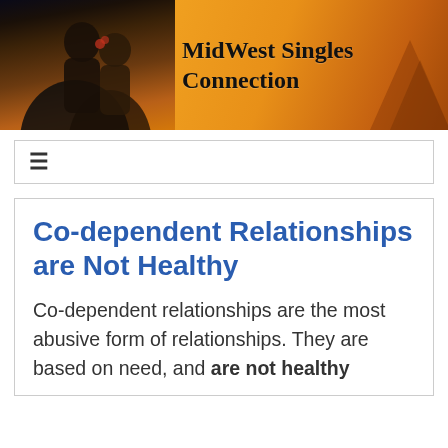[Figure (photo): MidWest Singles Connection website header banner. Orange/warm sunset gradient background with a couple (man and woman) on the left side and bold text 'MidWest Singles Connection' on the right.]
≡
Co-dependent Relationships are Not Healthy
Co-dependent relationships are the most abusive form of relationships. They are based on need, and are not healthy